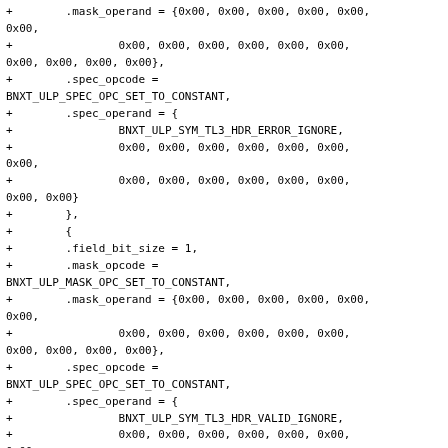+        .mask_operand = {0x00, 0x00, 0x00, 0x00, 0x00, 0x00,
+                0x00, 0x00, 0x00, 0x00, 0x00, 0x00,
0x00, 0x00, 0x00, 0x00},
+        .spec_opcode =
BNXT_ULP_SPEC_OPC_SET_TO_CONSTANT,
+        .spec_operand = {
+                BNXT_ULP_SYM_TL3_HDR_ERROR_IGNORE,
+                0x00, 0x00, 0x00, 0x00, 0x00, 0x00,
0x00,

+                0x00, 0x00, 0x00, 0x00, 0x00, 0x00,
0x00, 0x00}
+        },
+        {
+        .field_bit_size = 1,
+        .mask_opcode =
BNXT_ULP_MASK_OPC_SET_TO_CONSTANT,
+        .mask_operand = {0x00, 0x00, 0x00, 0x00, 0x00,
0x00,
+                0x00, 0x00, 0x00, 0x00, 0x00, 0x00,
0x00, 0x00, 0x00, 0x00},
+        .spec_opcode =
BNXT_ULP_SPEC_OPC_SET_TO_CONSTANT,
+        .spec_operand = {
+                BNXT_ULP_SYM_TL3_HDR_VALID_IGNORE,
+                0x00, 0x00, 0x00, 0x00, 0x00, 0x00,
0x00,

+                0x00, 0x00, 0x00, 0x00, 0x00, 0x00,
0x00, 0x00}
+        },